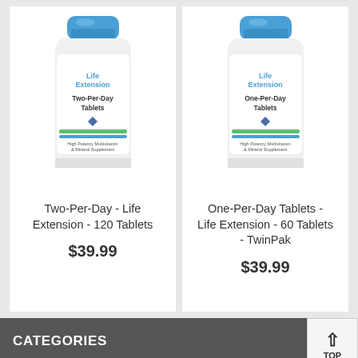[Figure (photo): Life Extension Two-Per-Day Tablets supplement bottle, white with blue cap]
Two-Per-Day - Life Extension - 120 Tablets
$39.99
[Figure (photo): Life Extension One-Per-Day Tablets supplement bottle, white with blue cap]
One-Per-Day Tablets - Life Extension - 60 Tablets - TwinPak
$39.99
CATEGORIES
Home